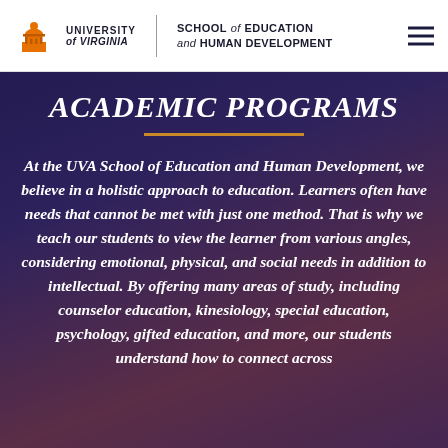University of Virginia | School of Education and Human Development
ACADEMIC PROGRAMS
At the UVA School of Education and Human Development, we believe in a holistic approach to education. Learners often have needs that cannot be met with just one method. That is why we teach our students to view the learner from various angles, considering emotional, physical, and social needs in addition to intellectual. By offering many areas of study, including counselor education, kinesiology, special education, psychology, gifted education, and more, our students understand how to connect across